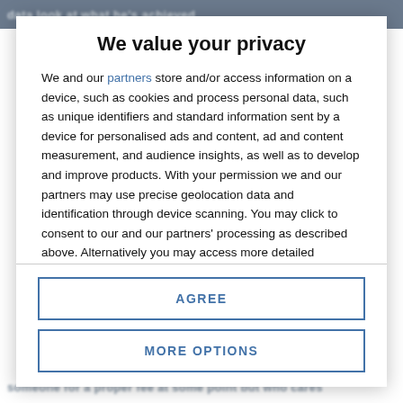data look at what he's achieved
We value your privacy
We and our partners store and/or access information on a device, such as cookies and process personal data, such as unique identifiers and standard information sent by a device for personalised ads and content, ad and content measurement, and audience insights, as well as to develop and improve products. With your permission we and our partners may use precise geolocation data and identification through device scanning. You may click to consent to our and our partners' processing as described above. Alternatively you may access more detailed information and change your preferences before consenting or to refuse consenting. Please note that some processing of your personal data may not require your consent, but you have a right to
AGREE
MORE OPTIONS
someone for a proper fee at some point but who cares